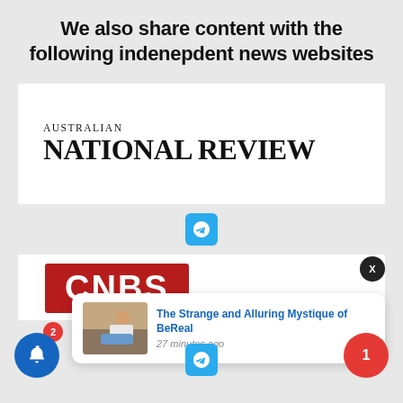We also share content with the following indenepdent news websites
[Figure (logo): Australian National Review logo — text 'AUSTRALIAN' above 'NATIONAL REVIEW' in large serif font on white background]
[Figure (logo): Telegram icon button — blue rounded square with white paper-plane icon]
[Figure (logo): CNBS logo — white bold letters on dark red/crimson background rectangle]
[Figure (screenshot): Notification popup: thumbnail image of woman, title 'The Strange and Alluring Mystique of BeReal', timestamp '27 minutes ago']
[Figure (logo): Telegram icon button — blue rounded square with white paper-plane icon (bottom)]
[Figure (other): Blue bell notification button with red badge showing '2', black X close button, red circle button with '1']